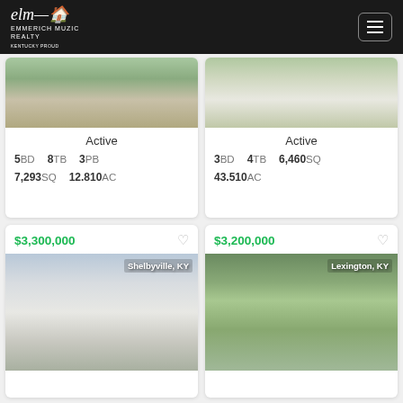Emmerich Muzic Realty
Active | 5BD 8TB 3PB | 7,293SQ 12.810AC
Active | 3BD 4TB 6,460SQ | 43.510AC
$3,300,000 | Shelbyville, KY
$3,200,000 | Lexington, KY